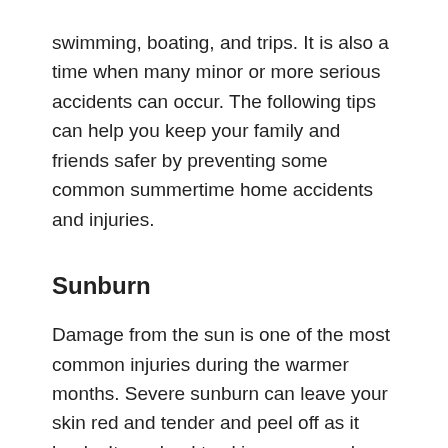swimming, boating, and trips. It is also a time when many minor or more serious accidents can occur. The following tips can help you keep your family and friends safer by preventing some common summertime home accidents and injuries.
Sunburn
Damage from the sun is one of the most common injuries during the warmer months. Severe sunburn can leave your skin red and tender and peel off as it heals. It can lead to skin cancer and premature aging. To prevent sunburn while enjoying summer sun:
Apply sunblock 30 minutes before exposure and